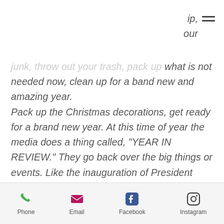ip, our
junk, throw out your trash, pack up what is not needed now, clean up for a band new and amazing year. Pack up the Christmas decorations, get ready for a brand new year. At this time of year the media does a thing called, "YEAR IN REVIEW." They go back over the big things or events. Like the inauguration of President Donald Trump, The massive shooting massacre in Las Vegas, The Hollywood scandals, etc. Before we enter or open a new year, we need to do a year in review and see what we have that needs to be released,
Phone | Email | Facebook | Instagram